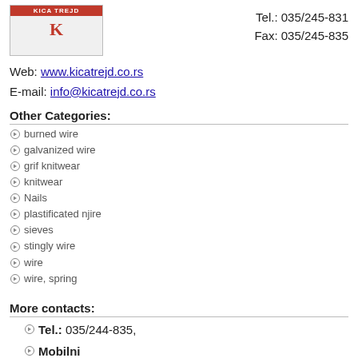[Figure (logo): Kica Trejd company logo with red header bar and K emblem]
Tel.: 035/245-831
Fax: 035/245-835
Web: www.kicatrejd.co.rs
E-mail: info@kicatrejd.co.rs
Other Categories:
burned wire
galvanized wire
grif knitwear
knitwear
Nails
plastificated njire
sieves
stingly wire
wire
wire, spring
More contacts:
Tel.: 035/244-835,
Mobilni Tel.: 064/1236-069,
Mobilni